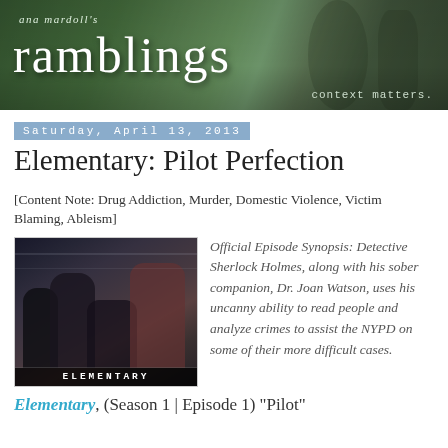[Figure (illustration): Ana Mardoll's Ramblings blog header banner with green forest background, large white 'ramblings' text, smaller 'ana mardoll's' text above, and 'context matters.' tagline at bottom right]
Saturday, April 13, 2013
Elementary: Pilot Perfection
[Content Note: Drug Addiction, Murder, Domestic Violence, Victim Blaming, Ableism]
[Figure (photo): Promotional photo from Elementary TV show showing actors in a subway scene with 'ELEMENTARY' text overlay at bottom]
Official Episode Synopsis: Detective Sherlock Holmes, along with his sober companion, Dr. Joan Watson, uses his uncanny ability to read people and analyze crimes to assist the NYPD on some of their more difficult cases.
Elementary, (Season 1 | Episode 1) "Pilot"